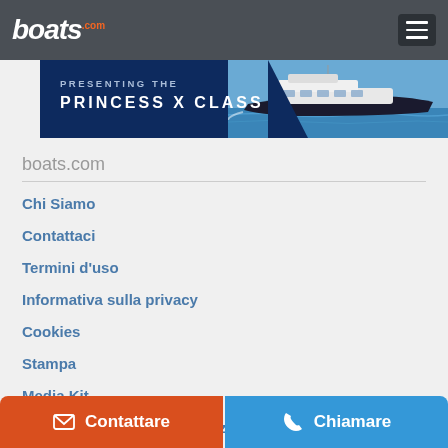boats.com
[Figure (screenshot): Boats.com website navigation menu page showing a banner advertisement for Princess X Class yacht, followed by site navigation links including Chi Siamo, Contattaci, Termini d'uso, Informativa sulla privacy, Cookies, Stampa, Media Kit, Non vendere le mie informazioni personali, and a partially visible Risorse section header, with contact and call buttons at the bottom.]
boats.com
Chi Siamo
Contattaci
Termini d'uso
Informativa sulla privacy
Cookies
Stampa
Media Kit
Non vendere le mie informazioni personali
Risorse
Contattare  Chiamare